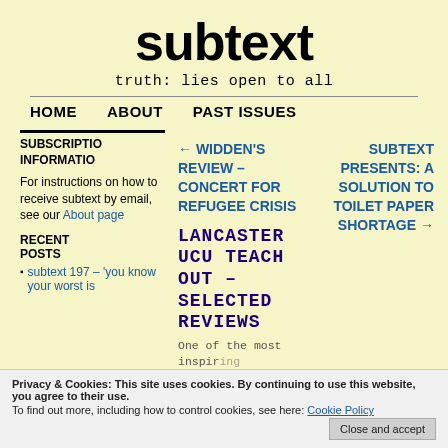subtext
truth: lies open to all
HOME   ABOUT   PAST ISSUES
SUBSCRIPTION INFORMATION
For instructions on how to receive subtext by email, see our About page
← WIDDEN'S REVIEW – CONCERT FOR REFUGEE CRISIS
SUBTEXT PRESENTS: A SOLUTION TO TOILET PAPER SHORTAGE →
LANCASTER UCU TEACH OUT – SELECTED REVIEWS
One of the most inspiring aspects of the UCU strike was,
RECENT POSTS
subtext 197 – 'you know your worst is
Privacy & Cookies: This site uses cookies. By continuing to use this website, you agree to their use. To find out more, including how to control cookies, see here: Cookie Policy